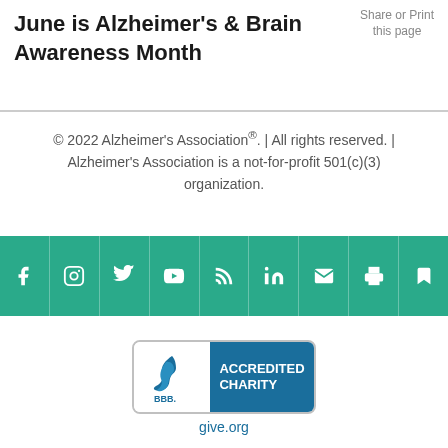June is Alzheimer's & Brain Awareness Month
Share or Print this page
© 2022 Alzheimer's Association®. | All rights reserved. | Alzheimer's Association is a not-for-profit 501(c)(3) organization.
[Figure (other): Social media icon bar with teal background containing icons for Facebook, Instagram, Twitter, YouTube, Blog/RSS, LinkedIn, Email, Print, and Bookmark]
[Figure (logo): BBB Accredited Charity badge with give.org URL]